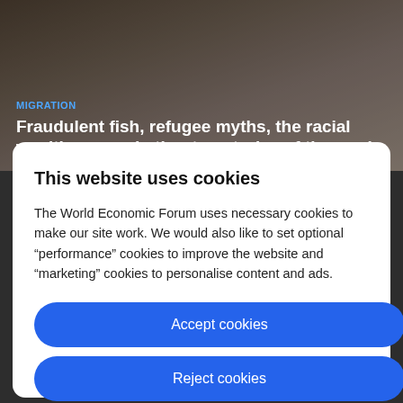[Figure (photo): Background photo of people, partially visible behind the cookie consent modal overlay]
MIGRATION
Fraudulent fish, refugee myths, the racial wealth gap and other top stories of the week
This website uses cookies
The World Economic Forum uses necessary cookies to make our site work. We would also like to set optional “performance” cookies to improve the website and “marketing” cookies to personalise content and ads.
Accept cookies
Reject cookies
Cookie settings